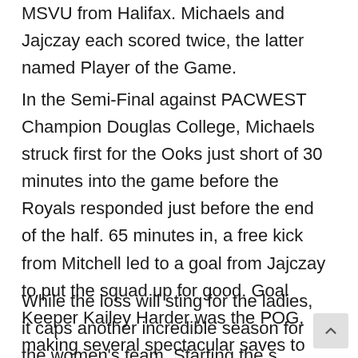MSVU from Halifax. Michaels and Jajczay each scored twice, the latter named Player of the Game.
In the Semi-Final against PACWEST Champion Douglas College, Michaels struck first for the Ooks just short of 30 minutes into the game before the Royals responded just before the end of the half. 65 minutes in, a free kick from Mitchell led to a goal from Jajczay to put the squad up for good. Goal Keeper Kailey Harder was the POG, making several spectacular saves to preserve her team's lead and berth into the championship match two days later.
While the loss will sting for the ladies, it caps another incredible season for the women's team. Starting the s opener in September, the Ooks went 14-1, dominating